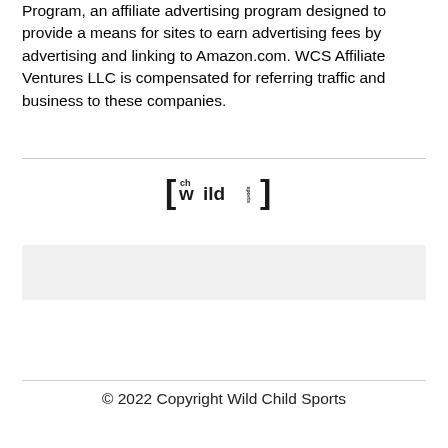Program, an affiliate advertising program designed to provide a means for sites to earn advertising fees by advertising and linking to Amazon.com. WCS Affiliate Ventures LLC is compensated for referring traffic and business to these companies.
[Figure (logo): Wild Child Sports logo in black bold stylized text with brackets]
[Figure (other): Gray rectangular placeholder box]
© 2022 Copyright Wild Child Sports